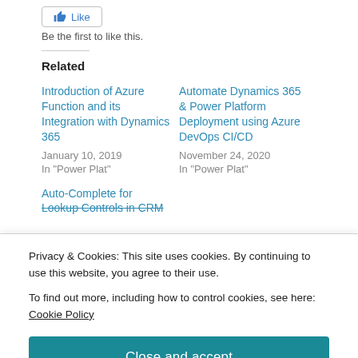[Figure (other): Like button with thumbs-up icon]
Be the first to like this.
Related
Introduction of Azure Function and its Integration with Dynamics 365
January 10, 2019
In "Power Plat"
Automate Dynamics 365 & Power Platform Deployment using Azure DevOps CI/CD
November 24, 2020
In "Power Plat"
Auto-Complete for Lookup Controls in CRM
Privacy & Cookies: This site uses cookies. By continuing to use this website, you agree to their use.
To find out more, including how to control cookies, see here: Cookie Policy
Close and accept